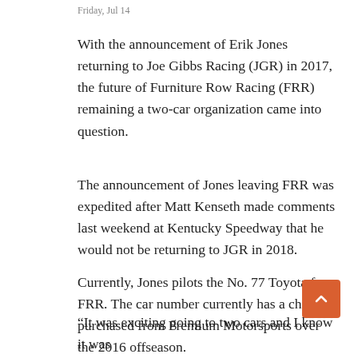Friday, Jul 14
With the announcement of Erik Jones returning to Joe Gibbs Racing (JGR) in 2017, the future of Furniture Row Racing (FRR) remaining a two-car organization came into question.
The announcement of Jones leaving FRR was expedited after Matt Kenseth made comments last weekend at Kentucky Speedway that he would not be returning to JGR in 2018.
Currently, Jones pilots the No. 77 Toyota for FRR. The car number currently has a charter, purchased from Premium Motorsports over the 2016 offseason.
“It was exciting going to two cars and I know it was